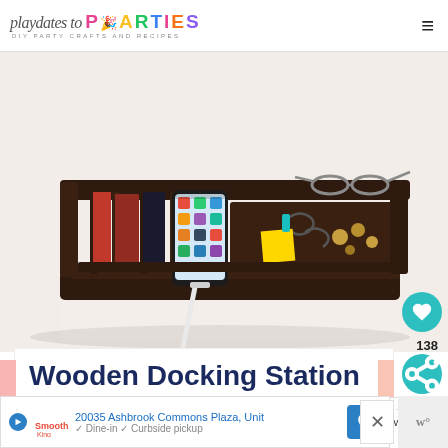playdates to PARTIES — DIY PARTY CRAFTS AND RECIPES
[Figure (photo): A wooden docking station/tablet valet organizer with phone inserted, glasses resting on top shelf, paperclips, coins and sticky notes in the tray, charging cable visible. Dark walnut stained wood on white background.]
Wooden Docking Station or Tablet Valet
WHAT'S NEXT → 19 Gifts for the Woman who…
20035 Ashbrook Commons Plaza, Unit
Dine-in  Curbside pickup